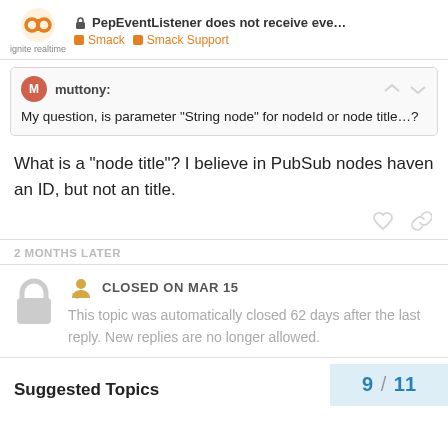PepEventListener does not receive eve... | Smack | Smack Support | ignite realtime
muttony:
My question, is parameter “String node” for nodeId or node title…?
What is a “node title”? I believe in PubSub nodes haven an ID, but not an title.
2 MONTHS LATER
CLOSED ON MAR 15
This topic was automatically closed 62 days after the last reply. New replies are no longer allowed.
9 / 11
Suggested Topics